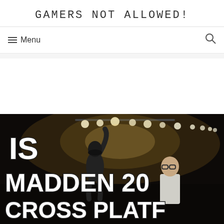Gamers Not Allowed!
≡ Menu
[Figure (photo): Football stadium scene with player celebrating and a person watching, overlaid with bold white text reading 'IS MADDEN 20 CROSS PLATFORM?']